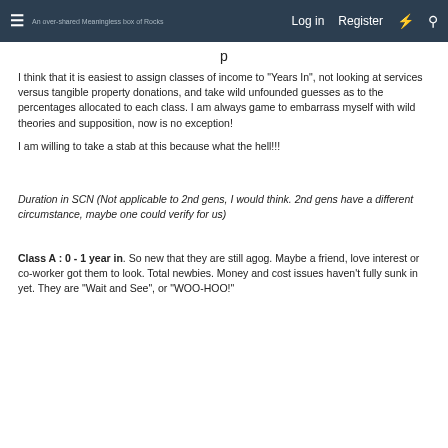Log in  Register
I think that it is easiest to assign classes of income to "Years In", not looking at services versus tangible property donations, and take wild unfounded guesses as to the percentages allocated to each class. I am always game to embarrass myself with wild theories and supposition, now is no exception!
I am willing to take a stab at this because what the hell!!!
Duration in SCN (Not applicable to 2nd gens, I would think. 2nd gens have a different circumstance, maybe one could verify for us)
Class A : 0 - 1 year in. So new that they are still agog. Maybe a friend, love interest or co-worker got them to look. Total newbies. Money and cost issues haven't fully sunk in yet. They are "Wait and See", or "WOO-HOO!"